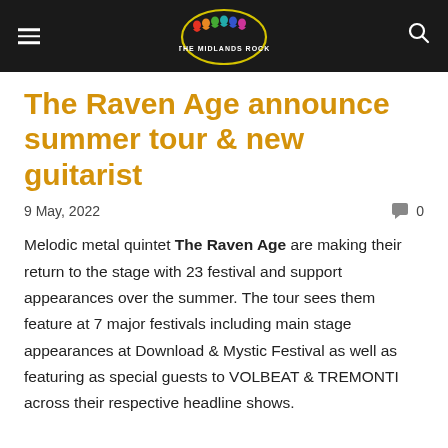The Midlands Rock — site header with logo, menu, and search
The Raven Age announce summer tour & new guitarist
9 May, 2022   0
Melodic metal quintet The Raven Age are making their return to the stage with 23 festival and support appearances over the summer. The tour sees them feature at 7 major festivals including main stage appearances at Download & Mystic Festival as well as featuring as special guests to VOLBEAT & TREMONTI across their respective headline shows.